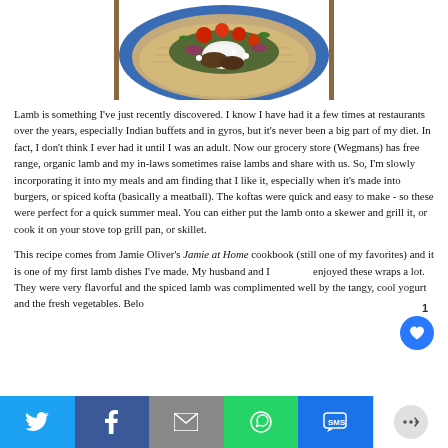[Figure (photo): A wrap/flatbread on a blue plate topped with lamb kofta, tomatoes, red onions, feta cheese, and yogurt sauce]
Lamb is something I've just recently discovered. I know I have had it a few times at restaurants over the years, especially Indian buffets and in gyros, but it's never been a big part of my diet. In fact, I don't think I ever had it until I was an adult. Now our grocery store (Wegmans) has free range, organic lamb and my in-laws sometimes raise lambs and share with us. So, I'm slowly incorporating it into my meals and am finding that I like it, especially when it's made into burgers, or spiced kofta (basically a meatball). The koftas were quick and easy to make - so these were perfect for a quick summer meal. You can either put the lamb onto a skewer and grill it, or cook it on your stove top grill pan, or skillet.
This recipe comes from Jamie Oliver's Jamie at Home cookbook (still one of my favorites) and it is one of my first lamb dishes I've made. My husband and I enjoyed these wraps a lot. They were very flavorful and the spiced lamb was complimented well by the tangy, cool yogurt and the fresh vegetables. Belo